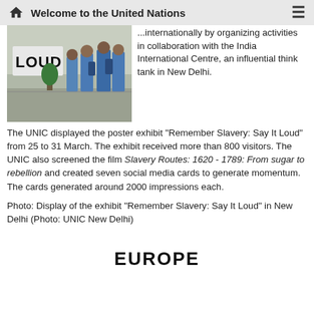Welcome to the United Nations
[Figure (photo): Security guards or staff in blue uniforms standing in front of a 'LOUD' sign display area, appear to be at an indoor exhibition hall in New Delhi]
...internationally by organizing activities in collaboration with the India International Centre, an influential think tank in New Delhi.
The UNIC displayed the poster exhibit "Remember Slavery: Say It Loud" from 25 to 31 March. The exhibit received more than 800 visitors. The UNIC also screened the film Slavery Routes: 1620 - 1789: From sugar to rebellion and created seven social media cards to generate momentum. The cards generated around 2000 impressions each.
Photo: Display of the exhibit "Remember Slavery: Say It Loud" in New Delhi (Photo: UNIC New Delhi)
EUROPE